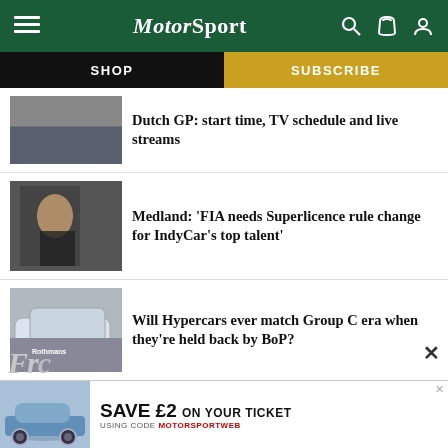MotorSport
SHOP
SUBSCRIBE
Dutch GP: start time, TV schedule and live streams
Medland: 'FIA needs Superlicence rule change for IndyCar's top talent'
Will Hypercars ever match Group C era when they're held back by BoP?
SAVE £2 ON YOUR TICKET USING CODE MOTORSPORTWEB